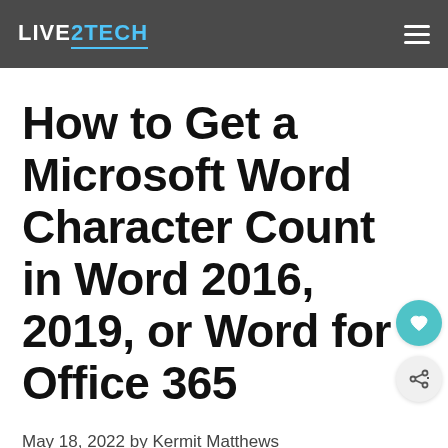LIVE2TECH
How to Get a Microsoft Word Character Count in Word 2016, 2019, or Word for Office 365
May 18, 2022 by Kermit Matthews